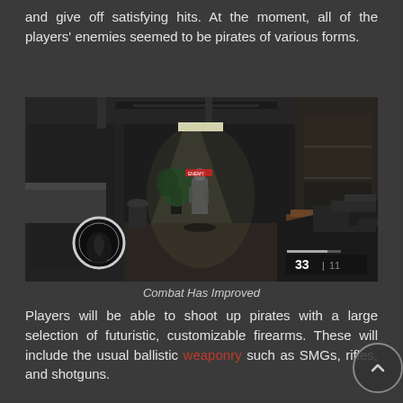and give off satisfying hits. At the moment, all of the players' enemies seemed to be pirates of various forms.
[Figure (screenshot): First-person shooter video game screenshot showing an indoor industrial environment. The player holds a gun visible at the bottom right. An enemy figure is seen in the middle of a corridor lit by overhead light. A circular HUD element (scope/compass) appears at bottom left. Ammo counter shows 33 and 11 in the bottom right.]
Combat Has Improved
Players will be able to shoot up pirates with a large selection of futuristic, customizable firearms. These will include the usual ballistic weaponry such as SMGs, rifles, and shotguns.